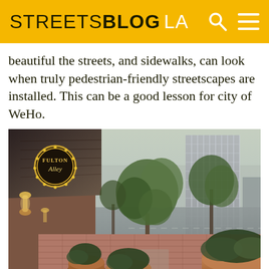STREETSBLOG LA
beautiful the streets, and sidewalks, can look when truly pedestrian-friendly streetscapes are installed. This can be a good lesson for city of WeHo.
[Figure (photo): Street-level photo of a pedestrian-friendly streetscape with brick sidewalk, large round planters with shrubs and trees, building with awning on the left showing 'Fulton Alley' sign, and a glass office tower in the background on the right.]